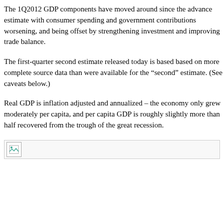The 1Q2012 GDP components have moved around since the advance estimate with consumer spending and government contributions worsening, and being offset by strengthening investment and improving trade balance.
The first-quarter second estimate released today is based based on more complete source data than were available for the “second” estimate. (See caveats below.)
Real GDP is inflation adjusted and annualized – the economy only grew moderately per capita, and per capita GDP is roughly slightly more than half recovered from the trough of the great recession.
[Figure (other): Broken image placeholder icon]